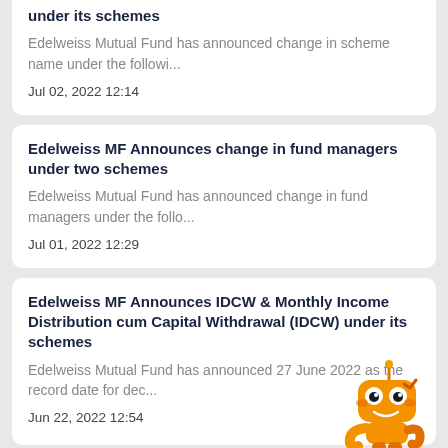under its schemes
Edelweiss Mutual Fund has announced change in scheme name under the followi...
Jul 02, 2022 12:14
Edelweiss MF Announces change in fund managers under two schemes
Edelweiss Mutual Fund has announced change in fund managers under the follo...
Jul 01, 2022 12:29
Edelweiss MF Announces IDCW & Monthly Income Distribution cum Capital Withdrawal (IDCW) under its schemes
Edelweiss Mutual Fund has announced 27 June 2022 as the record date for dec...
Jun 22, 2022 12:54